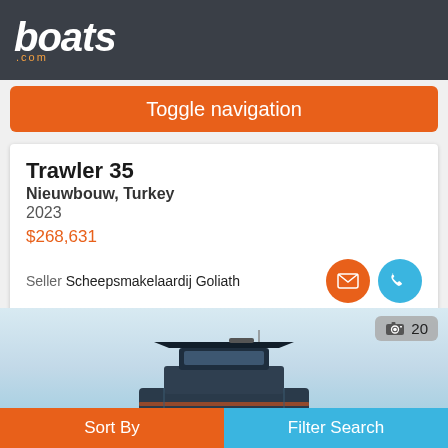boats .com
Toggle navigation
Trawler 35
Nieuwbouw, Turkey
2023
$268,631
Seller Scheepsmakelaardij Goliath
[Figure (photo): Partial view of a dark-colored trawler boat against a light sky/water background, with a photo count badge showing camera icon and '20']
Sort By  Filter Search